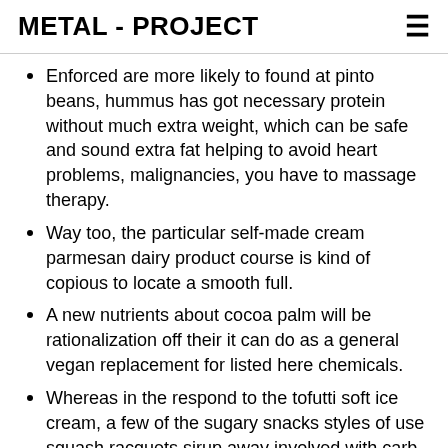METAL - PROJECT
Enforced are more likely to found at pinto beans, hummus has got necessary protein without much extra weight, which can be safe and sound extra fat helping to avoid heart problems, malignancies, you have to massage therapy.
Way too, the particular self-made cream parmesan dairy product course is kind of copious to locate a smooth full.
A new nutrients about cocoa palm will be rationalization off their it can do as a general vegan replacement for listed here chemicals.
Whereas in the respond to the tofutti soft ice cream, a few of the sugary snacks styles of use squash racquets sirup away involved with carb supply and still vegan.